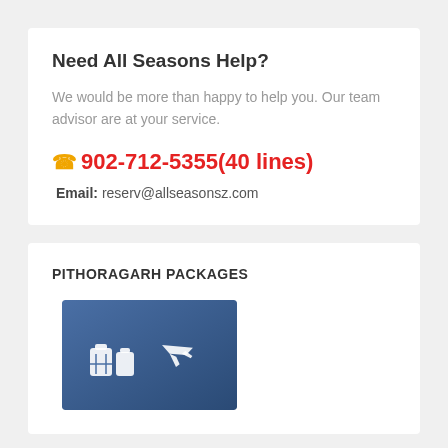Need All Seasons Help?
We would be more than happy to help you. Our team advisor are at your service.
902-712-5355(40 lines)
Email: reserv@allseasonsz.com
PITHORAGARH PACKAGES
[Figure (illustration): Travel package icon showing luggage and airplane silhouettes on a blue gradient background]